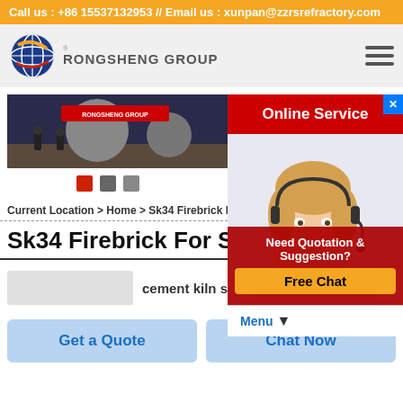Call us : +86 15537132953 // Email us : xunpan@zzrsrefractory.com
[Figure (logo): Rongsheng Group logo with globe icon and company name]
[Figure (screenshot): Rongsheng Group exhibition hall photo with company banner]
[Figure (infographic): Slideshow navigation dots: red, gray, gray]
Current Location > Home > Sk34 Firebrick F...
Sk34 Firebrick For Sale In India
[Figure (photo): Customer service agent with headset, Online Service popup with Need Quotation & Suggestion and Free Chat button]
cement kiln sk 36 refractory
Get a Quote
Chat Now